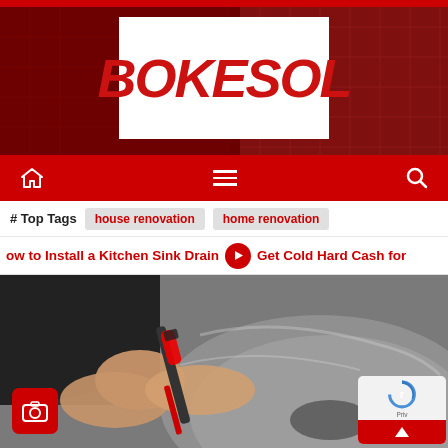[Figure (logo): BOKESOL website logo — red text on white background inside a dark red tiled banner]
BOKESOL
# Top Tags   house renovation   home renovation
ow to Install a Kitchen Sink Drain   ➡ Get Cold Hard Cash for
[Figure (photo): Hands using a screwdriver to work on a stainless steel kitchen sink drain installation]